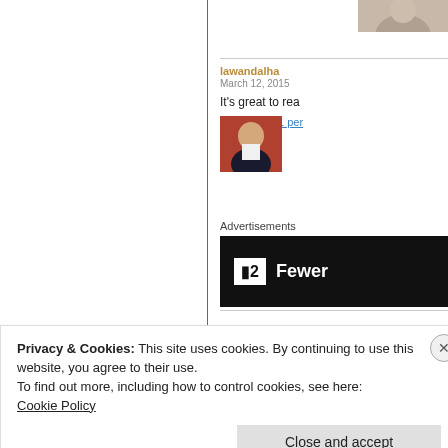[Figure (photo): Partial profile photo at top right, person in jacket]
lawandalha
March 12, 2015
It's great to rea
[Figure (photo): Profile photo of a man in dark jacket and white shirt]
Liked by 1 per
Reply
Advertisements
[Figure (other): Dark advertisement banner with logo showing '2' and text 'Fewer']
Privacy & Cookies: This site uses cookies. By continuing to use this website, you agree to their use.
To find out more, including how to control cookies, see here:
Cookie Policy
Close and accept